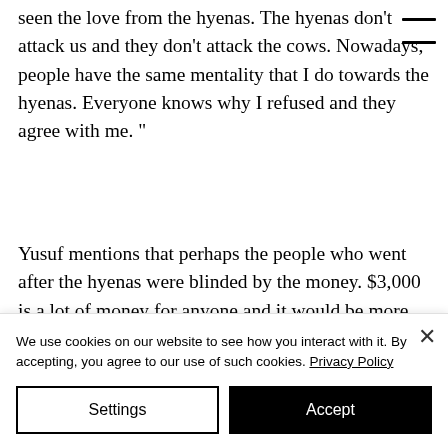seen the love from the hyenas. The hyenas don't attack us and they don't attack the cows. Nowadays, people have the same mentality that I do towards the hyenas. Everyone knows why I refused and they agree with me. ”
Yusuf mentions that perhaps the people who went after the hyenas were blinded by the money. $3,000 is a lot of money for anyone and it would be more than some people in Ethiopia earn in a
We use cookies on our website to see how you interact with it. By accepting, you agree to our use of such cookies. Privacy Policy
Settings
Accept